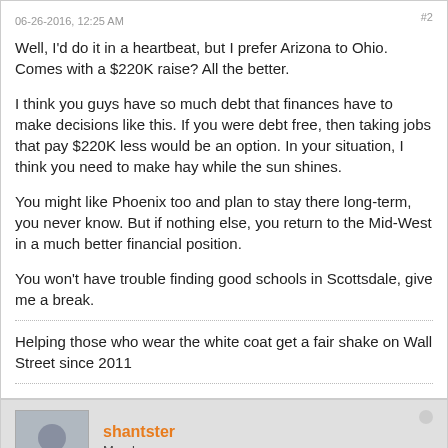06-26-2016, 12:25 AM  #2
Well, I'd do it in a heartbeat, but I prefer Arizona to Ohio. Comes with a $220K raise? All the better.
I think you guys have so much debt that finances have to make decisions like this. If you were debt free, then taking jobs that pay $220K less would be an option. In your situation, I think you need to make hay while the sun shines.
You might like Phoenix too and plan to stay there long-term, you never know. But if nothing else, you return to the Mid-West in a much better financial position.
You won't have trouble finding good schools in Scottsdale, give me a break.
Helping those who wear the white coat get a fair shake on Wall Street since 2011
shantster
Member